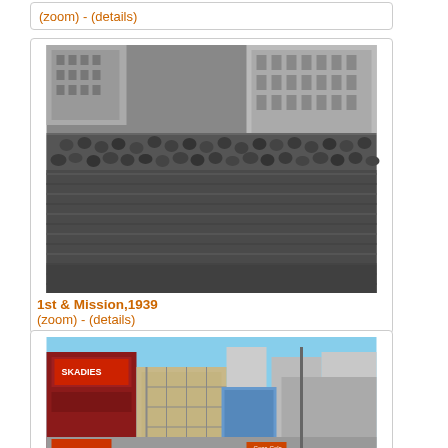(zoom) - (details)
[Figure (photo): Black and white photograph of a large crowd of people gathered at 1st & Mission street intersection in San Francisco, 1939. City buildings visible in background.]
1st & Mission,1939
(zoom) - (details)
[Figure (photo): Color photograph of city street scene showing buildings, signs, and urban construction.]